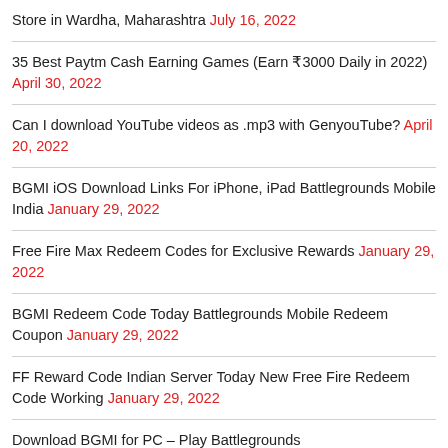Store in Wardha, Maharashtra July 16, 2022
35 Best Paytm Cash Earning Games (Earn ₹3000 Daily in 2022) April 30, 2022
Can I download YouTube videos as .mp3 with GenyouTube? April 20, 2022
BGMI iOS Download Links For iPhone, iPad Battlegrounds Mobile India January 29, 2022
Free Fire Max Redeem Codes for Exclusive Rewards January 29, 2022
BGMI Redeem Code Today Battlegrounds Mobile Redeem Coupon January 29, 2022
FF Reward Code Indian Server Today New Free Fire Redeem Code Working January 29, 2022
Download BGMI for PC – Play Battlegrounds